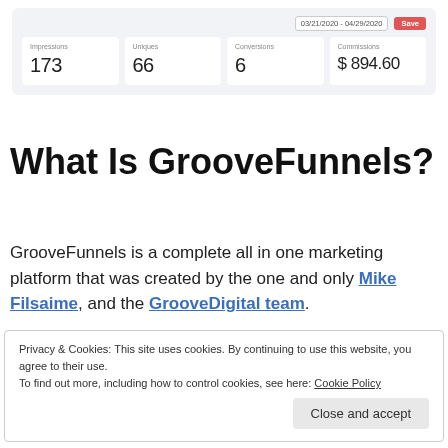[Figure (screenshot): Dashboard analytics screenshot showing date range 03/21/2020 - 04/29/2020 with a red Save button and four metric cards: Impressions 173, Uniques 66, Conversions 6, Commissions $894.60]
What Is GrooveFunnels?
GrooveFunnels is a complete all in one marketing platform that was created by the one and only Mike Filsaime, and the GrooveDigital team.
Privacy & Cookies: This site uses cookies. By continuing to use this website, you agree to their use.
To find out more, including how to control cookies, see here: Cookie Policy
Close and accept